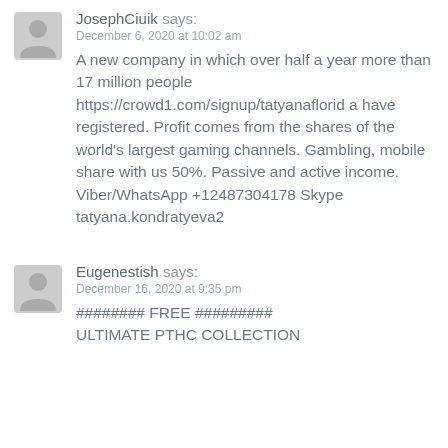JosephCiuik says:
December 6, 2020 at 10:02 am
A new company in which over half a year more than 17 million people https://crowd1.com/signup/tatyanaflorida have registered. Profit comes from the shares of the world's largest gaming channels. Gambling, mobile share with us 50%. Passive and active income. Viber/WhatsApp +12487304178 Skype tatyana.kondratyeva2
Eugenestish says:
December 16, 2020 at 9:35 pm
######## FREE ######### ULTIMATE PTHC COLLECTION